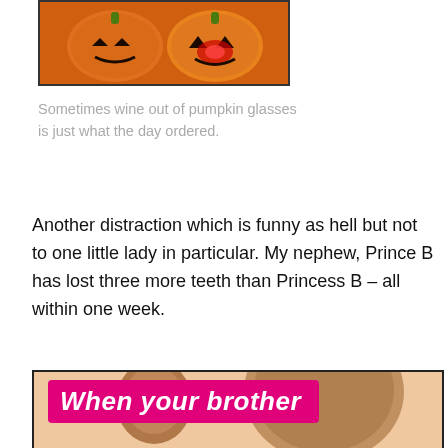[Figure (photo): Two orange pumpkin-shaped cups/glasses with jack-o-lantern faces, one with a glowing red light inside]
Sometimes wine out of pumpkin glasses is just what the day ordered.
Another distraction which is funny as hell but not to one little lady in particular. My nephew, Prince B has lost three more teeth than Princess B – all within one week.
[Figure (photo): Meme image with pink/magenta banner reading 'When your brother' over a peach background, below which are two children — one crying and one smirking at the camera]